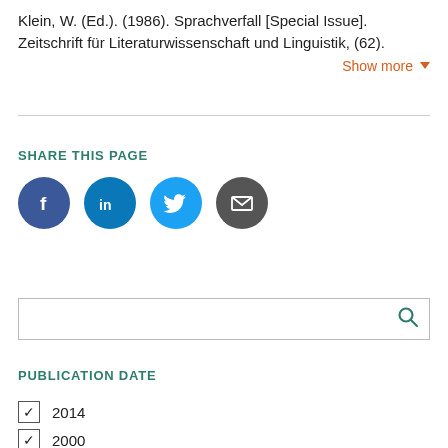Klein, W. (Ed.). (1986). Sprachverfall [Special Issue]. Zeitschrift für Literaturwissenschaft und Linguistik, (62).
Show more
SHARE THIS PAGE
[Figure (infographic): Four social sharing icon buttons: Facebook (blue circle with 'f'), LinkedIn (blue circle with 'in'), Twitter (light blue circle with bird logo), Email (dark grey circle with envelope icon)]
[Figure (screenshot): Search input box with a teal/green magnifying glass icon on the right]
PUBLICATION DATE
✓ 2014
✓ 2000